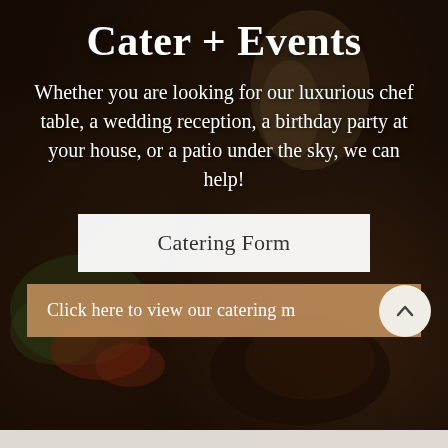[Figure (photo): Dark moody food photography background showing a restaurant table with dishes, vegetables, candles, and food items in warm amber tones]
Cater + Events
Whether you are looking for our luxurious chef table, a wedding reception, a birthday party at your house, or a patio under the sky, we can help!
Catering Form
Click here to view our catering m